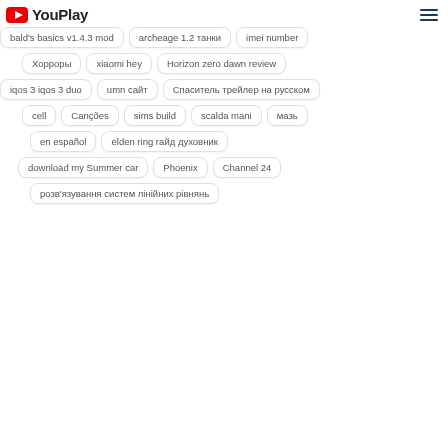YouPlay
bald's basics v1.4.3 mod
archeage 1.2 танки
imei number
Хорроры
xiaomi hey
Horizon zero dawn review
iqos 3 iqos 3 duo
umn сайт
Спаситель трейлер на русском
cell
Canções
sims build
scalda mani
мазь
en español
elden ring гайд духовник
download my Summer car
Phoenix
Channel 24
розвʼязування систем лінійних рівнянь